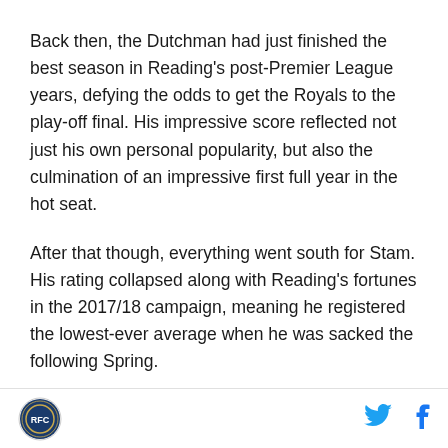Back then, the Dutchman had just finished the best season in Reading's post-Premier League years, defying the odds to get the Royals to the play-off final. His impressive score reflected not just his own personal popularity, but also the culmination of an impressive first full year in the hot seat.
After that though, everything went south for Stam. His rating collapsed along with Reading's fortunes in the 2017/18 campaign, meaning he registered the lowest-ever average when he was sacked the following Spring.
Successor Paul Clement didn't manage much of an
[Figure (logo): Reading FC club crest logo in circular form]
[Figure (logo): Twitter bird icon in blue]
[Figure (logo): Facebook f icon in blue]